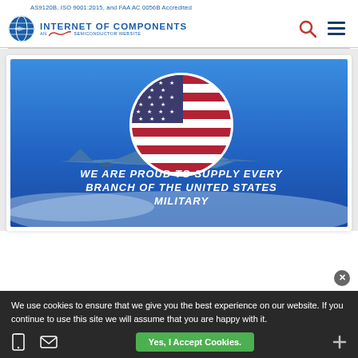AS9120B, ISO 9001:2015, and FAA AC 0056B Accredited
[Figure (logo): Internet of Components logo - globe icon with ASAP Semiconductor branding]
[Figure (illustration): Banner showing a military jet fighter with a circular US flag overlay and bold italic white text: WE ARE PROUD TO SUPPLY EVERY BRANCH OF THE UNITED STATES MILITARY]
We use cookies to ensure that we give you the best experience on our website. If you continue to use this site we will assume that you are happy with it.